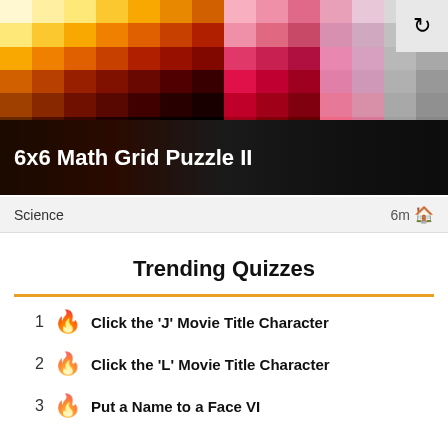[Figure (illustration): Colorful mosaic/grid banner with gradient squares from yellow-orange on left to pink-magenta in center to gray on the right, with a refresh button overlay in top-right corner]
6x6 Math Grid Puzzle II
Science   6m 🏠
Trending Quizzes
1 🔥 Click the 'J' Movie Title Character
2 🔥 Click the 'L' Movie Title Character
3 🔥 Put a Name to a Face VI